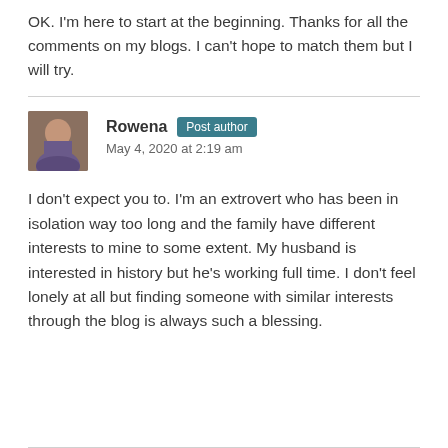OK. I'm here to start at the beginning. Thanks for all the comments on my blogs. I can't hope to match them but I will try.
Rowena · Post author · May 4, 2020 at 2:19 am
I don't expect you to. I'm an extrovert who has been in isolation way too long and the family have different interests to mine to some extent. My husband is interested in history but he's working full time. I don't feel lonely at all but finding someone with similar interests through the blog is always such a blessing.